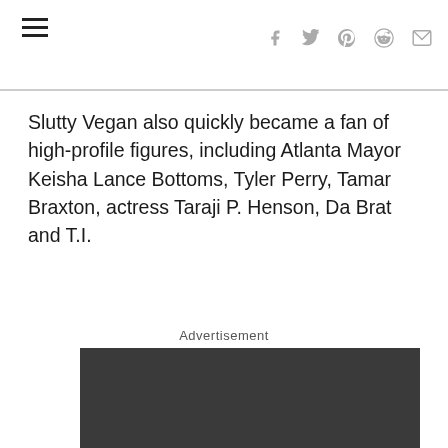[Site header with hamburger menu and social share icons: f (Facebook), Twitter, Pinterest, Reddit, Mail]
Slutty Vegan also quickly became a fan of high-profile figures, including Atlanta Mayor Keisha Lance Bottoms, Tyler Perry, Tamar Braxton, actress Taraji P. Henson, Da Brat and T.I.
Advertisement
[Figure (other): Dark grey advertisement placeholder rectangle]